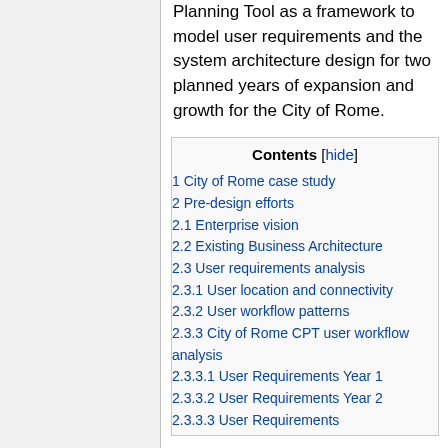Planning Tool as a framework to model user requirements and the system architecture design for two planned years of expansion and growth for the City of Rome.
1 City of Rome case study
2 Pre-design efforts
2.1 Enterprise vision
2.2 Existing Business Architecture
2.3 User requirements analysis
2.3.1 User location and connectivity
2.3.2 User workflow patterns
2.3.3 City of Rome CPT user workflow analysis
2.3.3.1 User Requirements Year 1
2.3.3.2 User Requirements Year 2
2.3.3.3 User Requirements